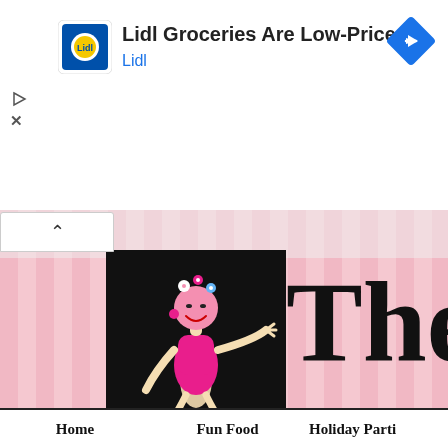[Figure (screenshot): Advertisement banner for Lidl showing Lidl logo square icon, text 'Lidl Groceries Are Low-Priced' as title and 'Lidl' as brand link in blue, with a blue diamond navigation arrow icon on the right, and small play/close controls on the left]
[Figure (illustration): Website header banner showing a cartoon pink-haired woman in a pink dress with flowers in her hair on a black background on the left side, and a pink vertical striped background on the right with large serif 'The' text partially visible]
Home   Fun Food   Holiday Parti